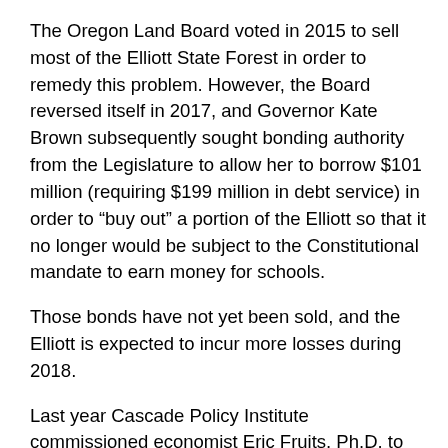The Oregon Land Board voted in 2015 to sell most of the Elliott State Forest in order to remedy this problem. However, the Board reversed itself in 2017, and Governor Kate Brown subsequently sought bonding authority from the Legislature to allow her to borrow $101 million (requiring $199 million in debt service) in order to “buy out” a portion of the Elliott so that it no longer would be subject to the Constitutional mandate to earn money for schools.
Those bonds have not yet been sold, and the Elliott is expected to incur more losses during 2018.
Last year Cascade Policy Institute commissioned economist Eric Fruits, Ph.D. to do a comparative analysis of nine Western states with large CSTL portfolios to determine under what circumstances it might make sense for states to sell these lands and invest the net proceeds into stocks, bonds, and other financial instruments. Dr. Fruits concluded that six states (including Oregon) likely would be better off